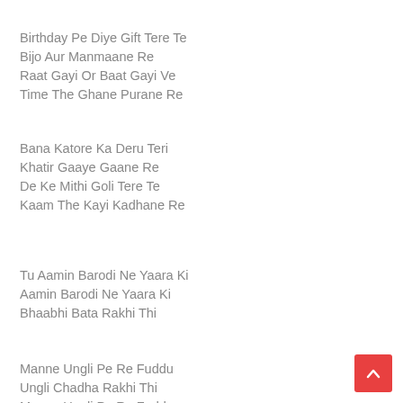Birthday Pe Diye Gift Tere Te
Bijo Aur Manmaane Re
Raat Gayi Or Baat Gayi Ve
Time The Ghane Purane Re
Bana Katore Ka Deru Teri
Khatir Gaaye Gaane Re
De Ke Mithi Goli Tere Te
Kaam The Kayi Kadhane Re
Tu Aamin Barodi Ne Yaara Ki
Aamin Barodi Ne Yaara Ki
Bhaabhi Bata Rakhi Thi
Manne Ungli Pe Re Fuddu
Ungli Chadha Rakhi Thi
Manne Ungli Pe Re Fuddu
Ungli Chadha Rakhi Thi